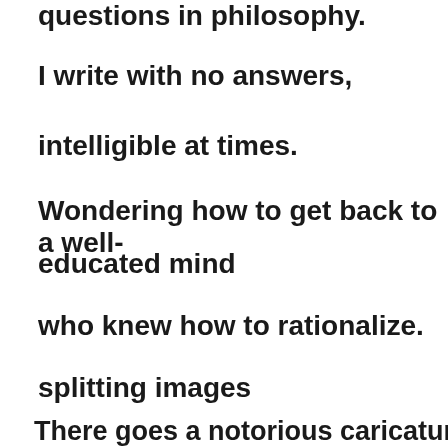questions in philosophy.
I write with no answers,
intelligible at times.
Wondering how to get back to a well-educated mind
who knew how to rationalize.
splitting images
There goes a notorious caricature of her